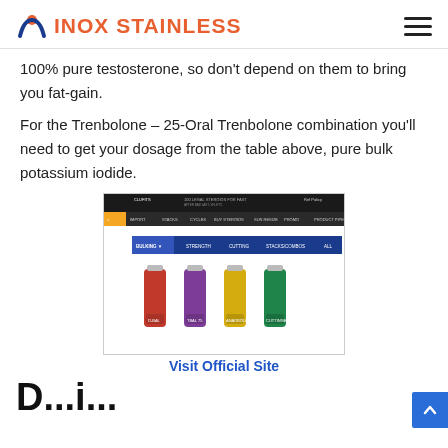INOX STAINLESS
100% pure testosterone, so don't depend on them to bring you fat-gain.
For the Trenbolone – 25-Oral Trenbolone combination you'll need to get your dosage from the table above, pure bulk potassium iodide.
[Figure (screenshot): Screenshot of a supplement website showing product bottles with 'Visit Official Site' label below]
Visit Official Site
D...i...